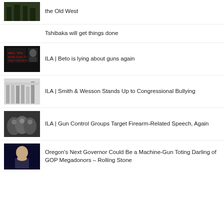the Old West
Tshibaka will get things done
ILA | Beto is lying about guns again
ILA | Smith & Wesson Stands Up to Congressional Bullying
ILA | Gun Control Groups Target Firearm-Related Speech, Again
Oregon's Next Governor Could Be a Machine-Gun Toting Darling of GOP Megadonors – Rolling Stone